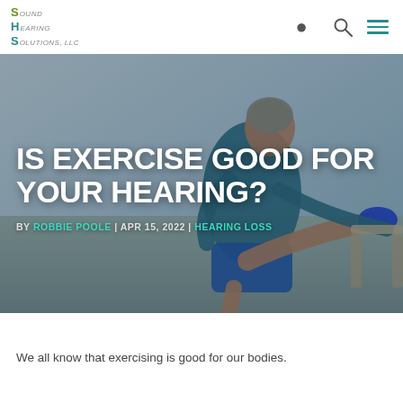Sound Hearing Solutions, LLC
[Figure (photo): An older man in blue athletic wear stretching his leg on a railing outdoors, used as a hero banner image for an article about exercise and hearing health.]
IS EXERCISE GOOD FOR YOUR HEARING?
BY ROBBIE POOLE | APR 15, 2022 | HEARING LOSS
We all know that exercising is good for our bodies.